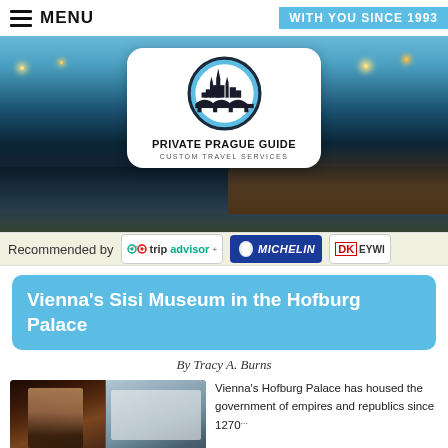MENU | WITH YOU SINCE 1993
[Figure (photo): Night photo of Prague bridge over river with city lights, with Private Prague Guide logo card overlaid in center]
Recommended by tripadvisor MICHELIN DK EYEWI...
Vienna's Sisi Museum in the Hofburg Palace
By Tracy A. Burns
[Figure (photo): Photo collage showing portrait painting and modern building exterior]
Vienna's Hofburg Palace has housed the government of empires and republics since 1270...